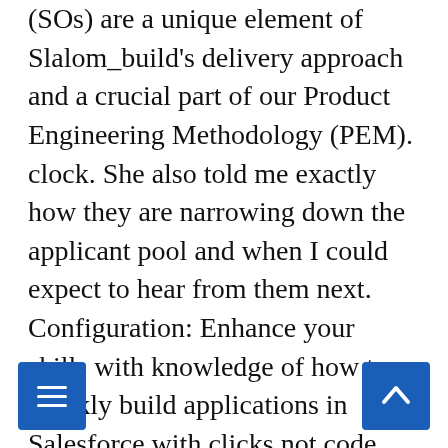(SOs) are a unique element of Slalom_build's delivery approach and a crucial part of our Product Engineering Methodology (PEM). clock. She also told me exactly how they are narrowing down the applicant pool and when I could expect to hear from them next. Configuration: Enhance your skills with knowledge of how to quickly build applications in Salesforce with clicks not code. Worldwide Contacts. Test : quel type d'emploi vous correspond ? 56 Slalom Consulting jobs available in Seattle, WA on Indeed.com. Production Coordinator Patheon Jan 2016 – Apr 2016 4 months. Glassdoor propose des milliers d'emplois, des informations sur les salaires, des avis sur les entreprises et des questions d'entretien venant directement des employés, vous permettant de trouver facilement l'emploi idéal. Each salary is